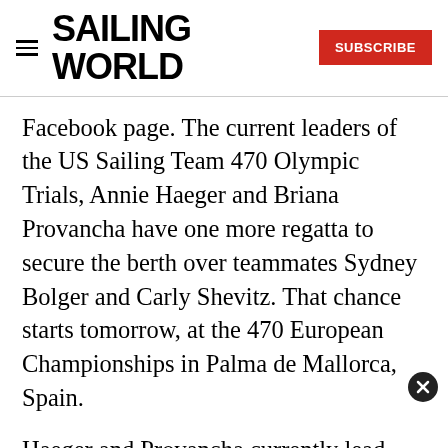SAILING WORLD | SUBSCRIBE
Facebook page. The current leaders of the US Sailing Team 470 Olympic Trials, Annie Haeger and Briana Provancha have one more regatta to secure the berth over teammates Sydney Bolger and Carly Shevitz. That chance starts tomorrow, at the 470 European Championships in Palma de Mallorca, Spain.
Haeger and Provancha currently lead Bolger and Shevitz by two points in the Trials, the first half of which was the 470